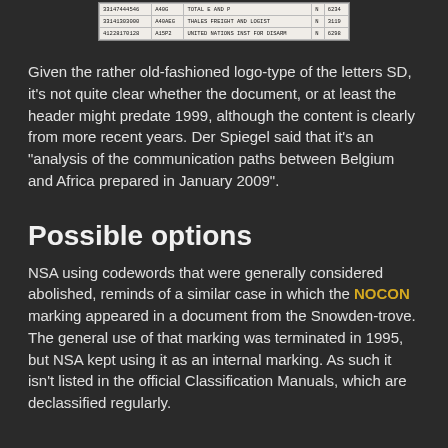|  |  |  |  |  |
| --- | --- | --- | --- | --- |
| 33147444546 | A40G | TOTAL E AND P | N | 6234 |
| 33141303000 | A40AEG | THALES FREIGHT AND LOGIST | N | 3119 |
| 41228170128 | A15P2 | UNITED NATIONS INST FOR DISARM | N | 6298 |
Given the rather old-fashioned logo-type of the letters SD, it's not quite clear whether the document, or at least the header might predate 1999, although the content is clearly from more recent years. Der Spiegel said that it's an "analysis of the communication paths between Belgium and Africa prepared in January 2009".
Possible options
NSA using codewords that were generally considered abolished, reminds of a similar case in which the NOCON marking appeared in a document from the Snowden-trove. The general use of that marking was terminated in 1995, but NSA kept using it as an internal marking. As such it isn't listed in the official Classification Manuals, which are declassified regularly.